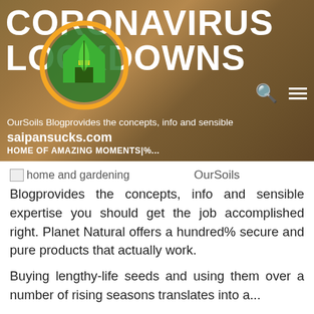[Figure (screenshot): Website hero banner with dark brown/tan living room background. Large white bold text reads 'CORONAVIRUS LOCKDOWNS'. A circular logo with orange ring and green house/leaf design overlaps the text. Search and hamburger menu icons are visible top right. Overlaid text at bottom includes website description and URL 'saipansucks.com'.]
OurSoils Blogprovides the concepts, info and sensible
saipansucks.com
HOME OF AMAZING MOMENTS|%...
[Figure (illustration): Small broken image placeholder icon labeled 'home and gardening']
OurSoils
Blogprovides the concepts, info and sensible expertise you should get the job accomplished right. Planet Natural offers a hundred% secure and pure products that actually work.
Buying lengthy-life seeds and using them over a number of rising seasons translates into a...